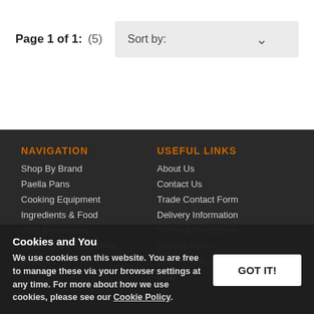Page 1 of 1: (5)
Sort by:
NAVIGATION
Shop By Brand
Paella Pans
Cooking Equipment
Ingredients & Food
Gifts & Hampers
Catering & Professional
Specials
USEFUL LINKS
About Us
Contact Us
Trade Contact Form
Delivery Information
Terms & Conditions
Privacy Policy
Cookie Policy
Blog
Cookies and You
We use cookies on this website. You are free to manage these via your browser settings at any time. For more about how we use cookies, please see our Cookie Policy.
GOT IT!